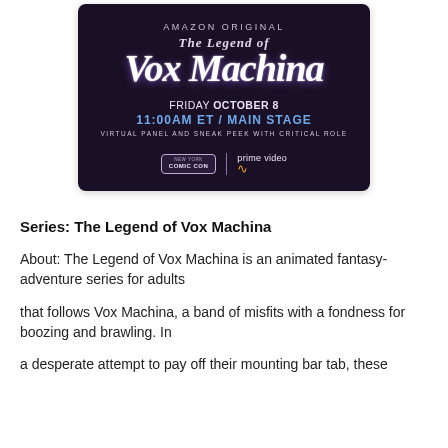[Figure (illustration): Amazon Original promotional image for The Legend of Vox Machina. Dark purple/navy background with stylized fantasy title text. Shows 'AMAZON ORIGINAL' at top, show title, 'FRIDAY OCTOBER 8 / 11:00AM ET / MAIN STAGE', 'VIRTUAL PANEL AND SNEAK PEEK WITH CRITICAL ROLE', and logos for New York Comic Con and Prime Video.]
Series: The Legend of Vox Machina
About: The Legend of Vox Machina is an animated fantasy-adventure series for adults
that follows Vox Machina, a band of misfits with a fondness for boozing and brawling. In
a desperate attempt to pay off their mounting bar tab, these